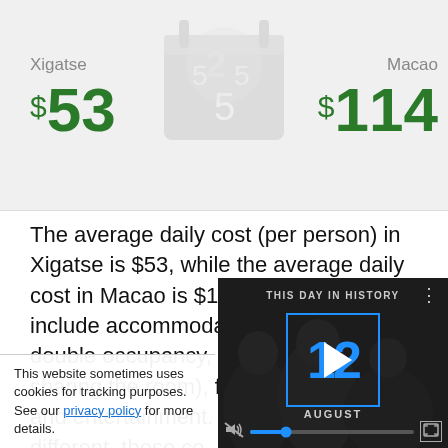Xigatse   $53       Macao   $114
The average daily cost (per person) in Xigatse is $53, while the average daily cost in Macao is $114. These costs include accommodation (assuming double occupancy, so the traveler is sharing the room), food, transportation, and entertainment. W... different, these co...
This website sometimes uses cookies for tracking purposes. See our privacy policy for more details.
[Figure (screenshot): Video player overlay showing 'THIS DAY IN HISTORY' with the number 12 and AUGUST, mute button, progress bar, and fullscreen button]